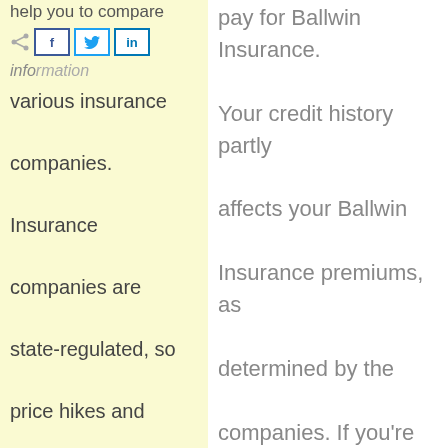help you to compare
information
various insurance companies. Insurance companies are state-regulated, so price hikes and consumer complaints have to be filed with your state's Department
pay for Ballwin Insurance. Your credit history partly affects your Ballwin Insurance premiums, as determined by the companies. If you’re high risk, you will need to pay a higher premium.
Look over your Ballwin MO Insurance policy regularly. You might find discounts